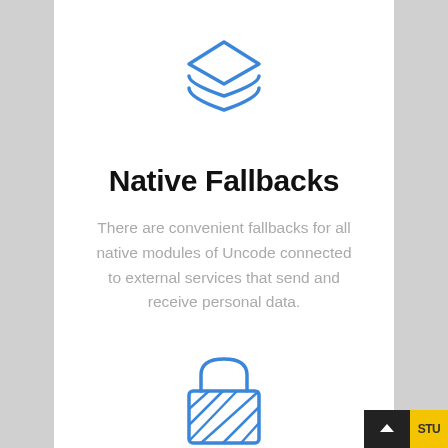[Figure (illustration): Blue outline icon of three stacked layers (diamond shapes)]
Native Fallbacks
There are convenient fallbacks for all native modules of Uncode connected to external services that send and receive personal data.
[Figure (illustration): Blue outline icon of a padlock with diagonal stripes on body]